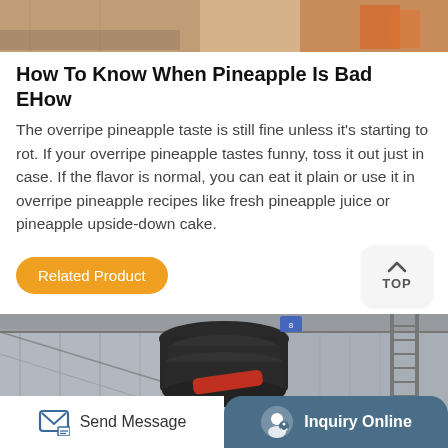[Figure (photo): Top partial image showing industrial/construction equipment in orange and tan colors]
How To Know When Pineapple Is Bad EHow
The overripe pineapple taste is still fine unless it’s starting to rot. If your overripe pineapple tastes funny, toss it out just in case. If the flavor is normal, you can eat it plain or use it in overripe pineapple recipes like fresh pineapple juice or pineapple upside-down cake.
[Figure (other): Orange rounded-rectangle button labeled 'Related Product' and a white rounded-square TOP navigation button with arrow]
[Figure (photo): Bottom partial image of industrial cone crusher machine in a factory/warehouse setting, predominantly black with red element, set in grayscale industrial environment]
Send Message   Inquiry Online